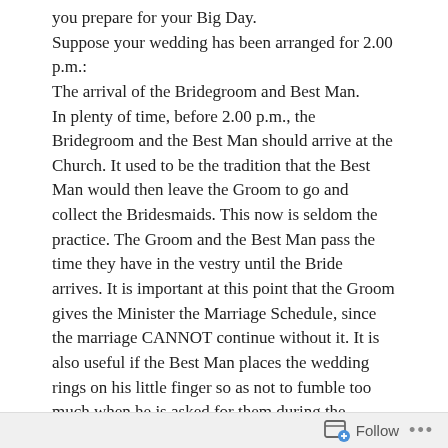you prepare for your Big Day.
Suppose your wedding has been arranged for 2.00 p.m.:
The arrival of the Bridegroom and Best Man.
In plenty of time, before 2.00 p.m., the Bridegroom and the Best Man should arrive at the Church. It used to be the tradition that the Best Man would then leave the Groom to go and collect the Bridesmaids. This now is seldom the practice. The Groom and the Best Man pass the time they have in the vestry until the Bride arrives. It is important at this point that the Groom gives the Minister the Marriage Schedule, since the marriage CANNOT continue without it. It is also useful if the Best Man places the wedding rings on his little finger so as not to fumble too much when he is asked for them during the Service.
Arrival of the Bride
It is important that the Bride arrives on time. If the wedding is to start too late, the arrangements for the rest of the day can